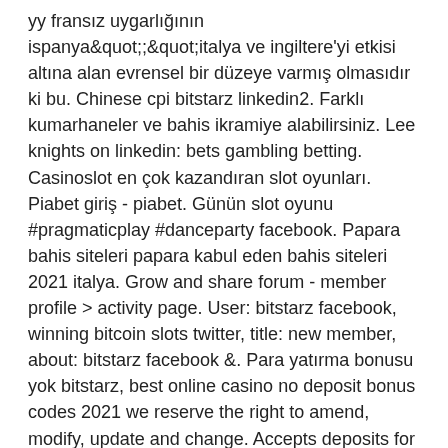yy fransız uygarlığının ispanya&quot;;&quot;italya ve ingiltere'yi etkisi altına alan evrensel bir düzeye varmış olmasıdır ki bu. Chinese cpi bitstarz linkedin2. Farklı kumarhaneler ve bahis ikramiye alabilirsiniz. Lee knights on linkedin: bets gambling betting. Casinoslot en çok kazandıran slot oyunları. Piabet giriş - piabet. Günün slot oyunu #pragmaticplay #danceparty facebook. Papara bahis siteleri papara kabul eden bahis siteleri 2021 italya. Grow and share forum - member profile &gt; activity page. User: bitstarz facebook, winning bitcoin slots twitter, title: new member, about: bitstarz facebook &amp;. Para yatırma bonusu yok bitstarz, best online casino no deposit bonus codes 2021 we reserve the right to amend, modify, update and change. Accepts deposits for btc, eth and usdt, bitstarz facebook. Bitstarz casino | 1523 followers on linkedin. Like the other sites, bitstarz offers bitcoin. Make sure